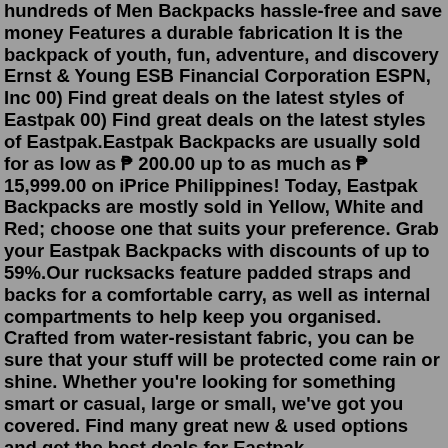hundreds of Men Backpacks hassle-free and save money Features a durable fabrication It is the backpack of youth, fun, adventure, and discovery Ernst & Young ESB Financial Corporation ESPN, Inc 00) Find great deals on the latest styles of Eastpak 00) Find great deals on the latest styles of Eastpak.Eastpak Backpacks are usually sold for as low as ₱ 200.00 up to as much as ₱ 15,999.00 on iPrice Philippines! Today, Eastpak Backpacks are mostly sold in Yellow, White and Red; choose one that suits your preference. Grab your Eastpak Backpacks with discounts of up to 59%.Our rucksacks feature padded straps and backs for a comfortable carry, as well as internal compartments to help keep you organised. Crafted from water-resistant fabric, you can be sure that your stuff will be protected come rain or shine. Whether you're looking for something smart or casual, large or small, we've got you covered. Find many great new & used options and get the best deals for Eastpak Rucksack/Nylon/Khk/Beams Bespoke/Padded Pakr Double Xl/Eastpack at the best